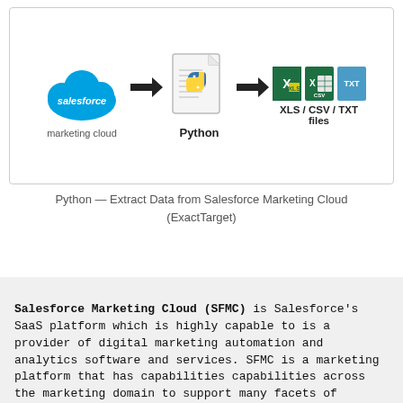[Figure (flowchart): Diagram showing data flow: Salesforce Marketing Cloud logo → arrow → Python script icon → arrow → XLS, CSV, TXT file icons]
Python — Extract Data from Salesforce Marketing Cloud (ExactTarget)
Salesforce Marketing Cloud (SFMC) is Salesforce's SaaS platform which is highly capable to is a provider of digital marketing automation and analytics software and services. SFMC is a marketing platform that has capabilities capabilities across the marketing domain to support many facets of marketing including multi-channel campaign